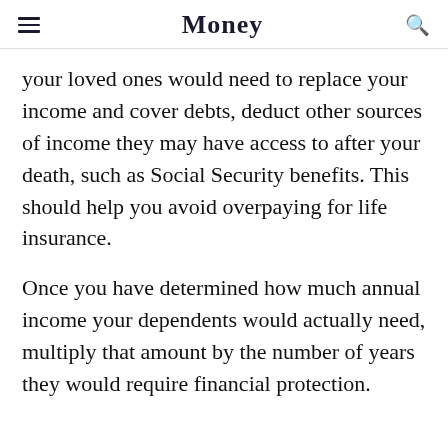Money
your loved ones would need to replace your income and cover debts, deduct other sources of income they may have access to after your death, such as Social Security benefits. This should help you avoid overpaying for life insurance.
Once you have determined how much annual income your dependents would actually need, multiply that amount by the number of years they would require financial protection.